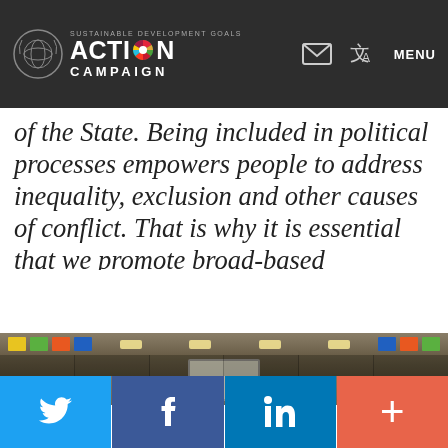SUSTAINABLE DEVELOPMENT GOALS ACTION CAMPAIGN — MENU
of the State. Being included in political processes empowers people to address inequality, exclusion and other causes of conflict. That is why it is essential that we promote broad-based participation in all levels of the political process, particularly in post-conflict societies.
[Figure (photo): Interior of a conference hall with ceiling lights, colorful blocks along the top, and a presentation screen visible in the background.]
Twitter | Facebook | LinkedIn | +